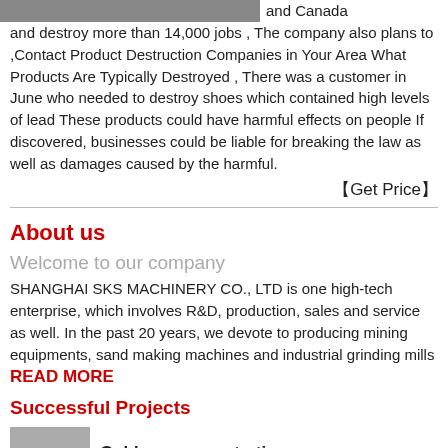[Figure (photo): Partial image at top of page, gray/dark toned photograph cropped at top]
and Canada and destroy more than 14,000 jobs , The company also plans to ,Contact Product Destruction Companies in Your Area What Products Are Typically Destroyed , There was a customer in June who needed to destroy shoes which contained high levels of lead These products could have harmful effects on people If discovered, businesses could be liable for breaking the law as well as damages caused by the harmful.
【Get Price】
About us
Welcome to our company
SHANGHAI SKS MACHINERY CO., LTD is one high-tech enterprise, which involves R&D, production, sales and service as well. In the past 20 years, we devote to producing mining equipments, sand making machines and industrial grinding mills
READ MORE
Successful Projects
[Figure (photo): Small thumbnail image related to gold ore concentration]
Gold ore concentration